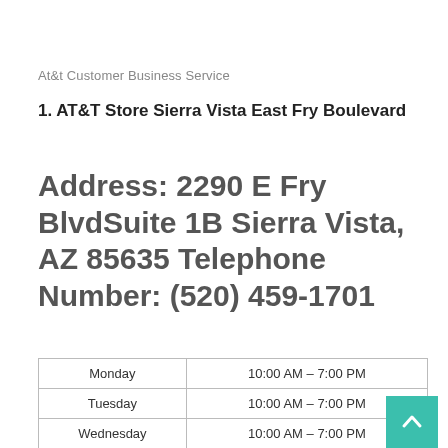At&t Customer Business Service
1. AT&T Store Sierra Vista East Fry Boulevard
Address: 2290 E Fry BlvdSuite 1B Sierra Vista, AZ 85635 Telephone Number: (520) 459-1701
| Day | Hours |
| --- | --- |
| Monday | 10:00 AM – 7:00 PM |
| Tuesday | 10:00 AM – 7:00 PM |
| Wednesday | 10:00 AM – 7:00 PM |
| Thursday | 10:00 AM – 7:00 PM |
| Friday | 10:00 AM – 7:00 PM |